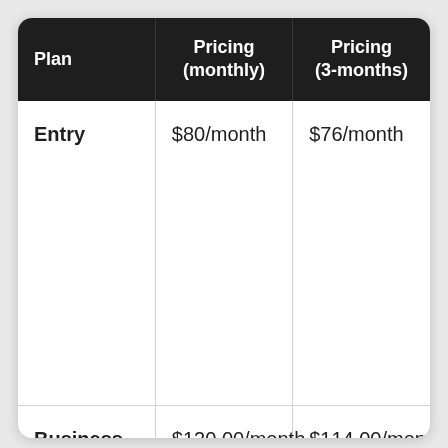| Plan | Pricing
(monthly) | Pricing
(3-months) |
| --- | --- | --- |
| Entry | $80/month | $76/month |
| Business | $120.00/month | $114.00/month |